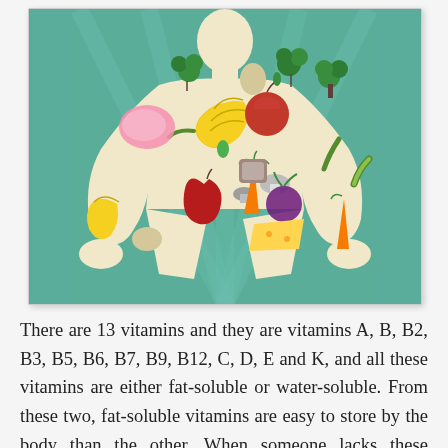[Figure (illustration): Illustration of a human body silhouette (beige/cream colored figure in a standing pose with hands on hips) on a teal/green background, with various foods and vegetables depicted inside the body outline: bananas, apple, carrots, broccoli, mushrooms, red pepper, beet, cheese, bread, green beans, parsley, egg, and meat.]
There are 13 vitamins and they are vitamins A, B, B2, B3, B5, B6, B7, B9, B12, C, D, E and K, and all these vitamins are either fat-soluble or water-soluble. From these two, fat-soluble vitamins are easy to store by the body than the other. When someone lacks these vitamins, he can tend to affect from disease easily. In this fast-food world,